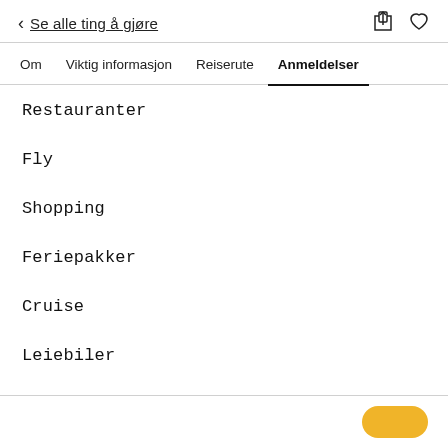< Se alle ting å gjøre
Om | Viktig informasjon | Reiserute | Anmeldelser
Restauranter
Fly
Shopping
Feriepakker
Cruise
Leiebiler
Mer ∨